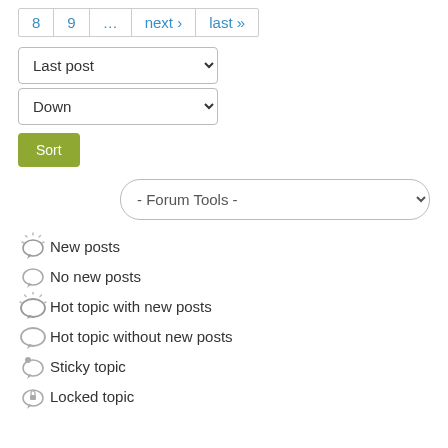| 8 | 9 | ... | next › | last » |
| --- | --- | --- | --- | --- |
Last post (dropdown)
Down (dropdown)
Sort (button)
- Forum Tools - (dropdown)
New posts
No new posts
Hot topic with new posts
Hot topic without new posts
Sticky topic
Locked topic